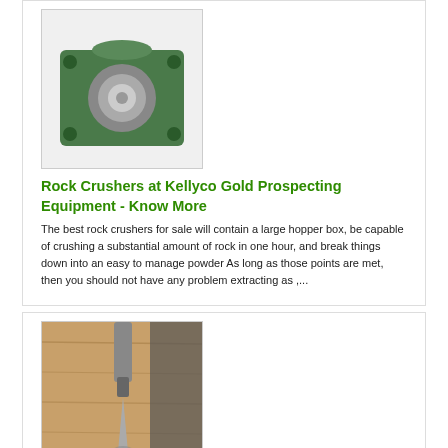[Figure (photo): Photo of a green four-bolt flange bearing unit with a silver ball bearing insert]
Rock Crushers at Kellyco Gold Prospecting Equipment - Know More
The best rock crushers for sale will contain a large hopper box, be capable of crushing a substantial amount of rock in one hour, and break things down into an easy to manage powder As long as those points are met, then you should not have any problem extracting as ,...
[Figure (photo): Photo of a drill bit or impact mill tool pressed into a wooden surface creating a hole]
Antique Gold Ore Impact Mills Crusher Mills, Cone , - Know More
11 Inch IMPACT MILL/ GOLD SCRAP/ RECOVERY/ ORE CRUSH , Terms and